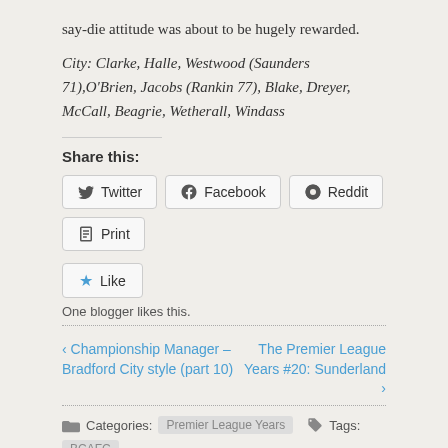say-die attitude was about to be hugely rewarded.
City: Clarke, Halle, Westwood (Saunders 71),O'Brien, Jacobs (Rankin 77), Blake, Dreyer, McCall, Beagrie, Wetherall, Windass
Share this:
Twitter Facebook Reddit Print
Like
One blogger likes this.
‹ Championship Manager – Bradford City style (part 10)
The Premier League Years #20: Sunderland ›
Categories: Premier League Years   Tags: BCAFC
2 replies